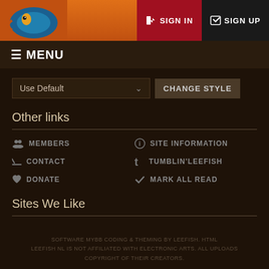SIGN IN  SIGN UP
≡ MENU
Use Default  CHANGE STYLE
Other links
MEMBERS
SITE INFORMATION
CONTACT
TUMBLIN'LEEFISH
DONATE
MARK ALL READ
Sites We Like
SOFTWARE MYBB CODING & THEMING BY LEEFISH. HTML LEEFISH NL IS NOT AFFILIATED WITH ELECTRONIC ARTS. ALL UPLOADS COPYRIGHT OF THEIR CREATORS.